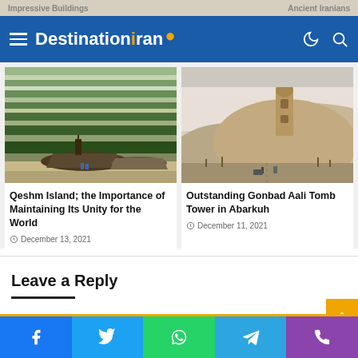Impressive Buildings | Ancient Iranians
[Figure (screenshot): DestinationIran website navigation bar with hamburger menu, logo, moon icon and search icon on blue background]
[Figure (photo): Qeshm Island landscape photo showing traditional wooden boats (dhows) in shallow green wetlands/mudflats]
Qeshm Island; the Importance of Maintaining Its Unity for the World
December 13, 2021
[Figure (photo): Gonbad Aali Tomb Tower in Abarkuh - ancient tower on sandy desert hill with people and vehicles on road below]
Outstanding Gonbad Aali Tomb Tower in Abarkuh
December 11, 2021
Leave a Reply
Social share bar: Facebook, Twitter, WhatsApp, Telegram, Phone